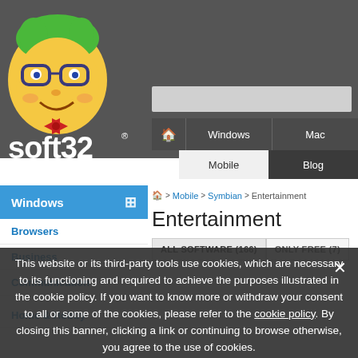[Figure (logo): Soft32 website logo with cartoon mascot character wearing glasses and green hair, with 'soft32' text in white]
Windows | Mac | Mobile | Blog navigation bar
🏠 > Mobile > Symbian > Entertainment
Entertainment
ALL SOFTWARE (166)   ONLY FREE (7)
Windows
Browsers
Business
Communication
Home & Hobby
This website or its third-party tools use cookies, which are necessary to its functioning and required to achieve the purposes illustrated in the cookie policy. If you want to know more or withdraw your consent to all or some of the cookies, please refer to the cookie policy. By closing this banner, clicking a link or continuing to browse otherwise, you agree to the use of cookies.